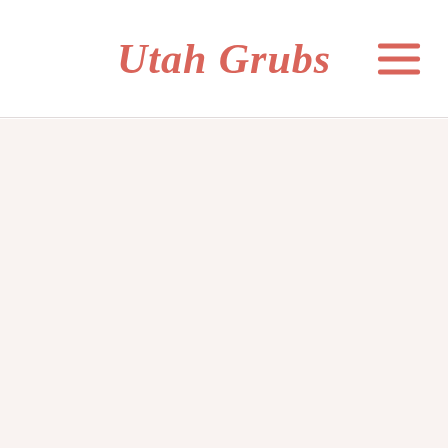Utah Grubs
[Figure (other): Hamburger menu icon with three horizontal lines in coral/salmon color]